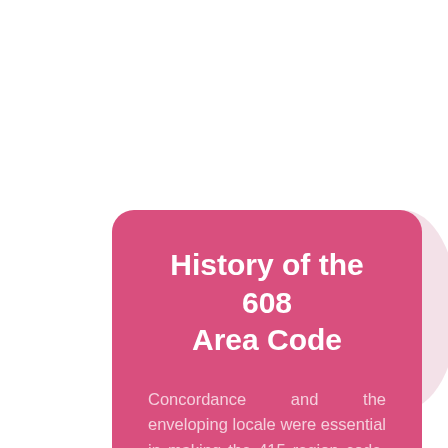History of the 608 Area Code
Concordance and the enveloping locale were essential in making the 415 region code, which covered central Wisconsin . The more